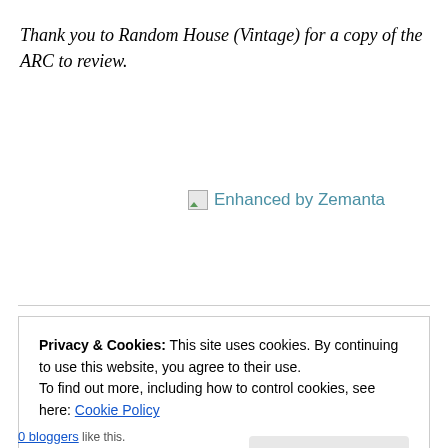Thank you to Random House (Vintage) for a copy of the ARC to review.
[Figure (other): Broken image icon followed by text 'Enhanced by Zemanta' as a hyperlink in teal/blue color]
Privacy & Cookies: This site uses cookies. By continuing to use this website, you agree to their use.
To find out more, including how to control cookies, see here: Cookie Policy
[Close and accept button]
0 bloggers like this.